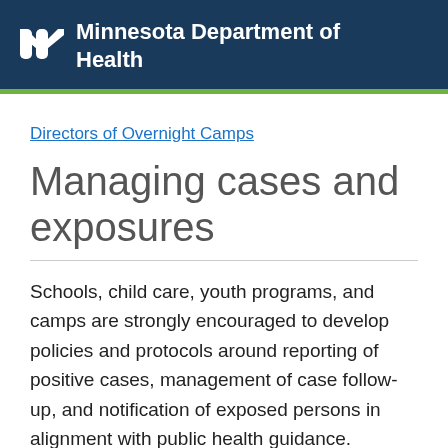Minnesota Department of Health
Directors of Overnight Camps
Managing cases and exposures
Schools, child care, youth programs, and camps are strongly encouraged to develop policies and protocols around reporting of positive cases, management of case follow-up, and notification of exposed persons in alignment with public health guidance. Schools, child care, youth programs, and